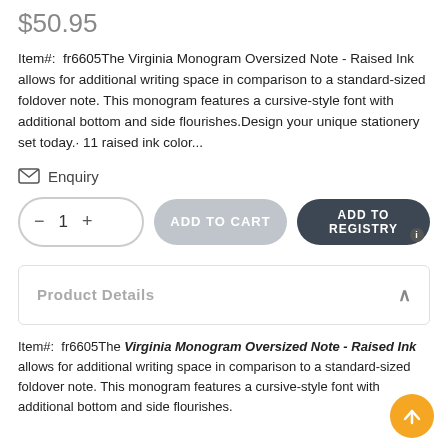$50.95
Item#:  fr6605The Virginia Monogram Oversized Note - Raised Ink allows for additional writing space in comparison to a standard-sized foldover note. This monogram features a cursive-style font with additional bottom and side flourishes.Design your unique stationery set today.· 11 raised ink color...
Enquiry
ADD TO CART
ADD TO REGISTRY
Product Details
Item#:  fr6605The Virginia Monogram Oversized Note - Raised Ink allows for additional writing space in comparison to a standard-sized foldover note. This monogram features a cursive-style font with additional bottom and side flourishes.